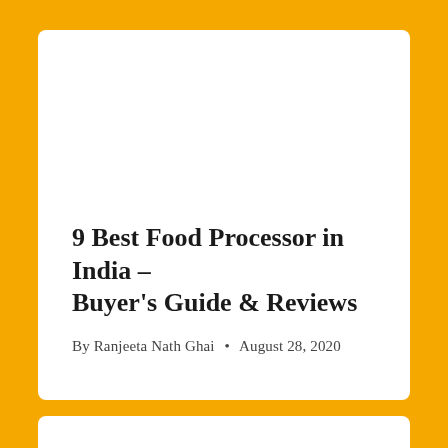9 Best Food Processor in India – Buyer's Guide & Reviews
By Ranjeeta Nath Ghai • August 28, 2020